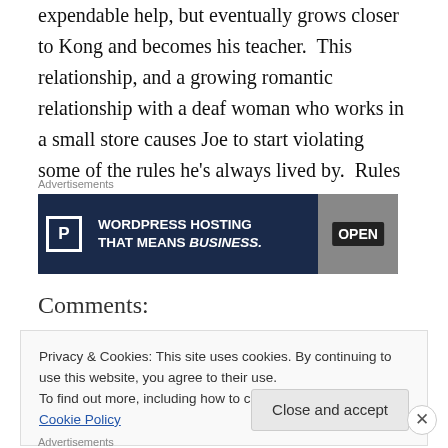expendable help, but eventually grows closer to Kong and becomes his teacher.  This relationship, and a growing romantic relationship with a deaf woman who works in a small store causes Joe to start violating some of the rules he's always lived by.  Rules that have kept him alive.
[Figure (screenshot): Advertisement banner for WordPress Hosting with tagline 'THAT MEANS BUSINESS.' alongside an OPEN sign image]
Comments:
Privacy & Cookies: This site uses cookies. By continuing to use this website, you agree to their use.
To find out more, including how to control cookies, see here: Cookie Policy
Close and accept
Advertisements